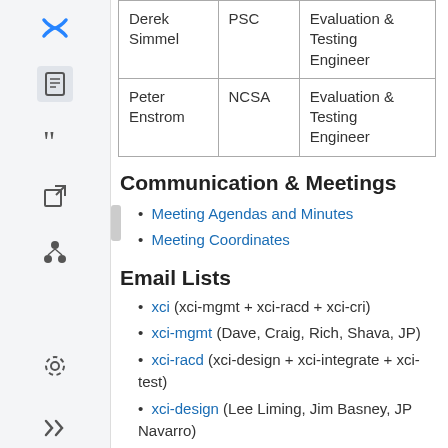| Name | Organization | Role |
| --- | --- | --- |
| Derek Simmel | PSC | Evaluation & Testing Engineer |
| Peter Enstrom | NCSA | Evaluation & Testing Engineer |
Communication & Meetings
Meeting Agendas and Minutes
Meeting Coordinates
Email Lists
xci (xci-mgmt + xci-racd + xci-cri)
xci-mgmt (Dave, Craig, Rich, Shava, JP)
xci-racd (xci-design + xci-integrate + xci-test)
xci-design (Lee Liming, Jim Basney, JP Navarro)
xci-integrate (JP Navarro, Galen Arnold, Eric Blau, Rob Light)
xci-test (Shava Smallen, Galen Arnold, Choonhan…)